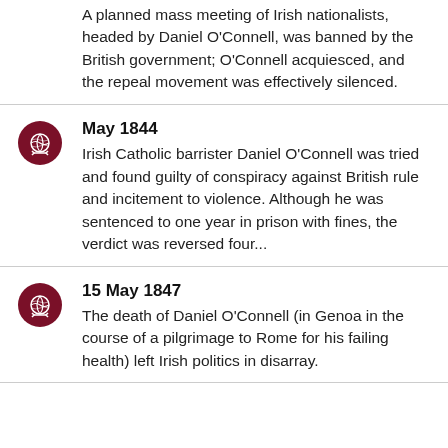A planned mass meeting of Irish nationalists, headed by Daniel O'Connell, was banned by the British government; O'Connell acquiesced, and the repeal movement was effectively silenced.
May 1844 — Irish Catholic barrister Daniel O'Connell was tried and found guilty of conspiracy against British rule and incitement to violence. Although he was sentenced to one year in prison with fines, the verdict was reversed four...
15 May 1847 — The death of Daniel O'Connell (in Genoa in the course of a pilgrimage to Rome for his failing health) left Irish politics in disarray.